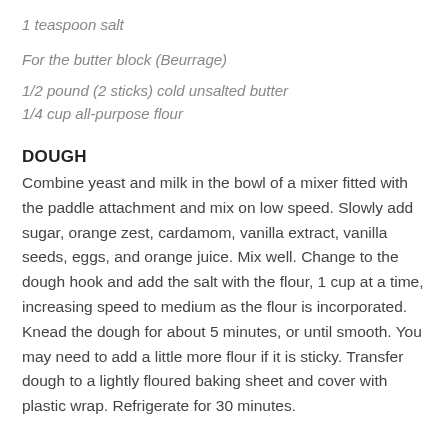1 teaspoon salt
For the butter block (Beurrage)
1/2 pound (2 sticks) cold unsalted butter
1/4 cup all-purpose flour
DOUGH
Combine yeast and milk in the bowl of a mixer fitted with the paddle attachment and mix on low speed. Slowly add sugar, orange zest, cardamom, vanilla extract, vanilla seeds, eggs, and orange juice. Mix well. Change to the dough hook and add the salt with the flour, 1 cup at a time, increasing speed to medium as the flour is incorporated. Knead the dough for about 5 minutes, or until smooth. You may need to add a little more flour if it is sticky. Transfer dough to a lightly floured baking sheet and cover with plastic wrap. Refrigerate for 30 minutes.